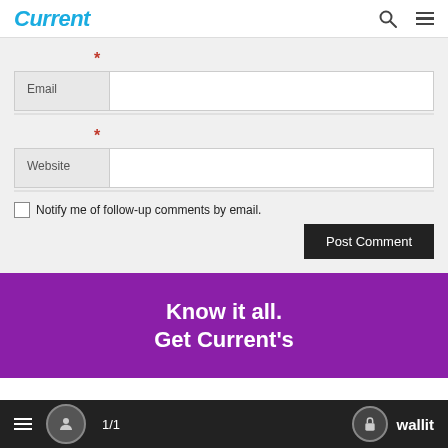Current
* (asterisk for Email field)
Email
* (asterisk for Website field)
Website
Notify me of follow-up comments by email.
Post Comment
Know it all. Get Current's
1/1  wallit